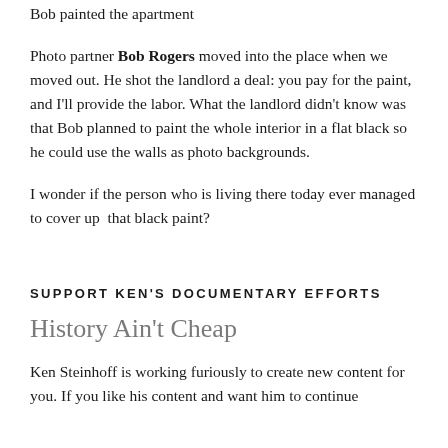Bob painted the apartment
Photo partner Bob Rogers moved into the place when we moved out. He shot the landlord a deal: you pay for the paint, and I'll provide the labor. What the landlord didn't know was that Bob planned to paint the whole interior in a flat black so he could use the walls as photo backgrounds.
I wonder if the person who is living there today ever managed to cover up  that black paint?
SUPPORT KEN'S DOCUMENTARY EFFORTS
History Ain't Cheap
Ken Steinhoff is working furiously to create new content for you. If you like his content and want him to continue